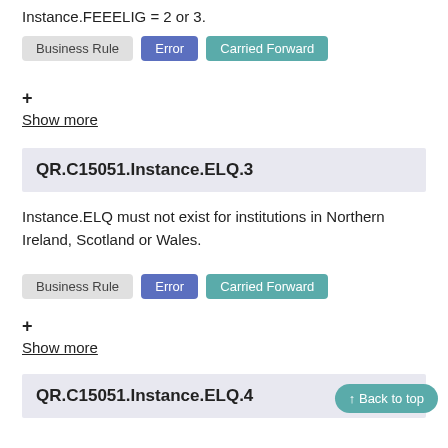Instance.FEEELIG = 2 or 3.
Business Rule  Error  Carried Forward
+ Show more
QR.C15051.Instance.ELQ.3
Instance.ELQ must not exist for institutions in Northern Ireland, Scotland or Wales.
Business Rule  Error  Carried Forward
+ Show more
QR.C15051.Instance.ELQ.4
↑ Back to top